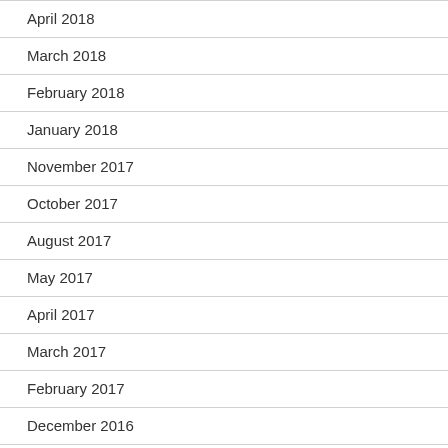April 2018
March 2018
February 2018
January 2018
November 2017
October 2017
August 2017
May 2017
April 2017
March 2017
February 2017
December 2016
October 2016